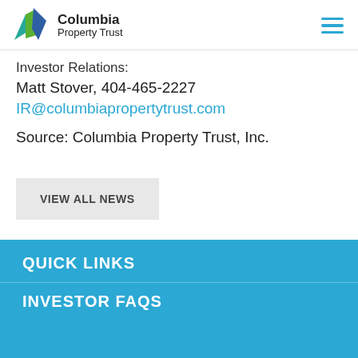Columbia Property Trust
Investor Relations:
Matt Stover, 404-465-2227
IR@columbiapropertytrust.com
Source: Columbia Property Trust, Inc.
VIEW ALL NEWS
QUICK LINKS
INVESTOR FAQS